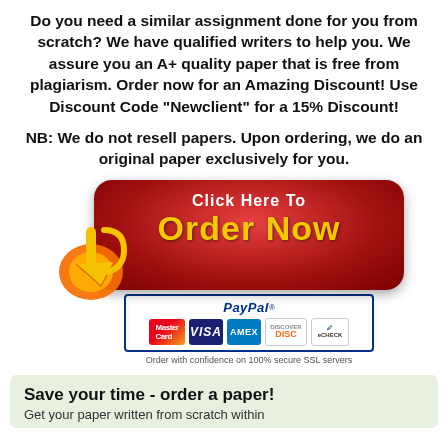Do you need a similar assignment done for you from scratch? We have qualified writers to help you. We assure you an A+ quality paper that is free from plagiarism. Order now for an Amazing Discount! Use Discount Code "Newclient" for a 15% Discount!
NB: We do not resell papers. Upon ordering, we do an original paper exclusively for you.
[Figure (illustration): Red rounded-rectangle button with white text 'Click Here To' and yellow text 'Order Now', with an orange arrow/flame decoration at the bottom-left, and a PayPal payment box below showing MasterCard, Visa, Amex, Discover, eCheck logos and 'Order with confidence on 100% secure SSL servers']
Save your time - order a paper!
Get your paper written from scratch within